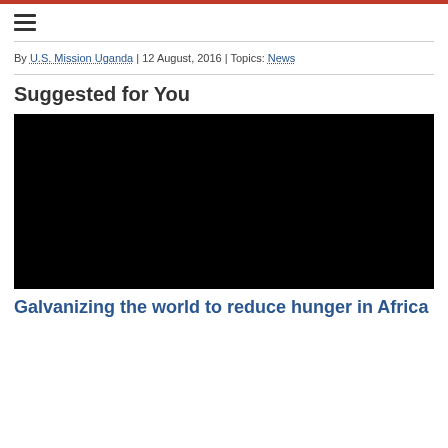By U.S. Mission Uganda | 12 August, 2016 | Topics: News
Suggested for You
[Figure (photo): Black image placeholder for an article thumbnail]
Galvanizing the world to reduce hunger in Africa